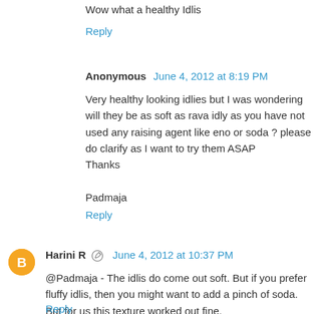Wow what a healthy Idlis
Reply
Anonymous  June 4, 2012 at 8:19 PM
Very healthy looking idlies but I was wondering will they be as soft as rava idly as you have not used any raising agent like eno or soda ? please do clarify as I want to try them ASAP
Thanks

Padmaja
Reply
Harini R  June 4, 2012 at 10:37 PM
@Padmaja - The idlis do come out soft. But if you prefer fluffy idlis, then you might want to add a pinch of soda. But for us this texture worked out fine.
Reply